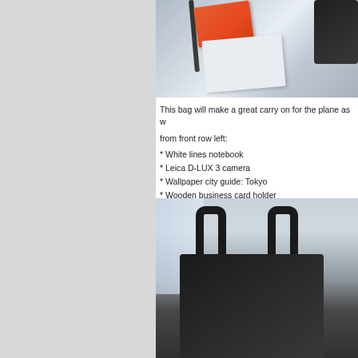[Figure (photo): Top-down photo of a white notebook, orange notebook/book, pen, and dark smartphone on a light surface]
This bag will make a great carry on for the plane as w
from front row left:
* White lines notebook
* Leica D-LUX 3 camera
* Wallpaper city guide: Tokyo
* Wooden business card holder
[Figure (photo): Photo of a dark navy/black canvas tote bag with leather handles against a window background]